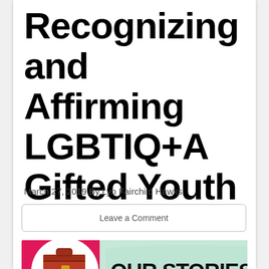Recognizing and Affirming LGBTIQ+A Gifted Youth
March 27, 2019 By Lyn Fairchild Hawks
Leave a Comment
[Figure (illustration): Book cover showing 'Our Stories, Our Voices' with a toolbox, paintbrushes, and bold text on a pink and mint green background]